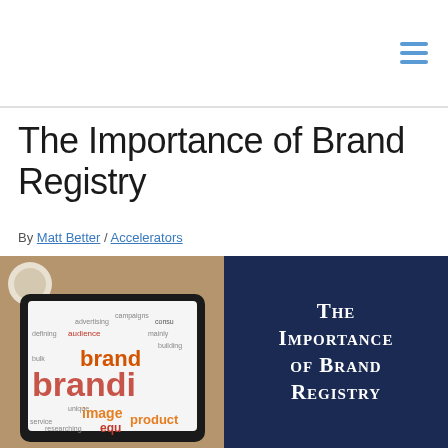The Importance of Brand Registry
By Matt Better / Accelerators
[Figure (photo): Left half: tablet on wooden surface displaying a branding word cloud with words like brand, advertising, campaigns, consumer, audience, image, product, service, researching, equity in orange, red, and black text. Right half: dark navy blue background with bold white serif text reading 'The Importance of Brand Registry' in small-caps style.]